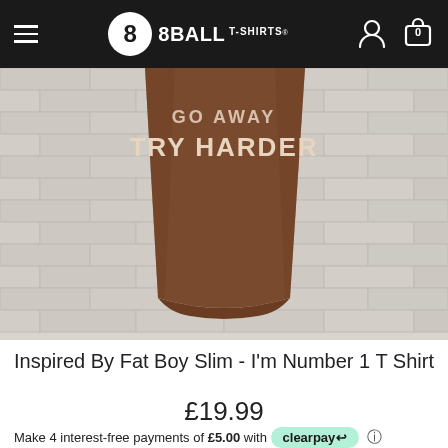8BALL T-SHIRTS
[Figure (photo): Brown t-shirt hanging against a white brick wall background, showing printed text 'TRY HARDER' on the front]
Inspired By Fat Boy Slim - I'm Number 1 T Shirt
£19.99
Make 4 interest-free payments of £5.00 with clearpay